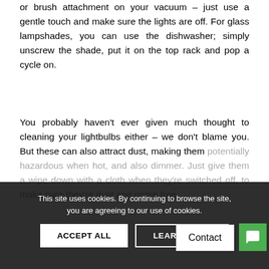or brush attachment on your vacuum – just use a gentle touch and make sure the lights are off. For glass lampshades, you can use the dishwasher; simply unscrew the shade, put it on the top rack and pop a cycle on.
You probably haven't ever given much thought to cleaning your lightbulbs either – we don't blame you. But these can also attract dust, making them potentially hazardous when hot, and also dimmer. Just give them a wipe down with a cloth when they're switched off, to make sure they're dust and grime free.
This site uses cookies. By continuing to browse the site, you are agreeing to our use of cookies.
ACCEPT ALL
LEARN MORE
Contact